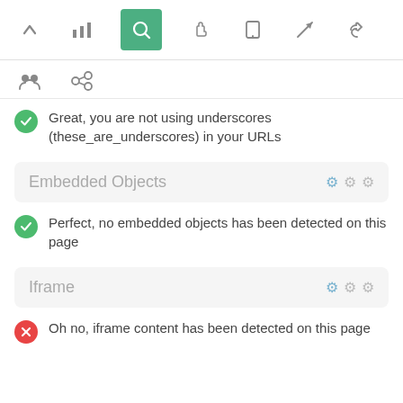[Figure (screenshot): Toolbar row with icons: up arrow, bar chart, search (active/green), hand cursor, mobile, send, thumbs up]
[Figure (screenshot): Second toolbar row with people/group icon and chain/link icon]
Great, you are not using underscores (these_are_underscores) in your URLs
Embedded Objects
Perfect, no embedded objects has been detected on this page
Iframe
Oh no, iframe content has been detected on this page